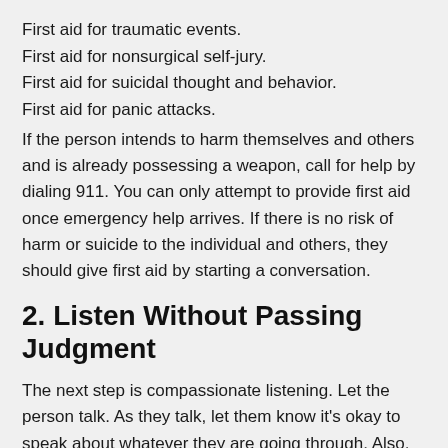First aid for traumatic events.
First aid for nonsurgical self-jury.
First aid for suicidal thought and behavior.
First aid for panic attacks.
If the person intends to harm themselves and others and is already possessing a weapon, call for help by dialing 911. You can only attempt to provide first aid once emergency help arrives. If there is no risk of harm or suicide to the individual and others, they should give first aid by starting a conversation.
2. Listen Without Passing Judgment
The next step is compassionate listening. Let the person talk. As they talk, let them know it's okay to speak about whatever they are going through. Also, importantly, let them know that there are people who care about their illness.
To initiate a conversation, respectfully approach the person in a private setting. You should always be patient with the person if they